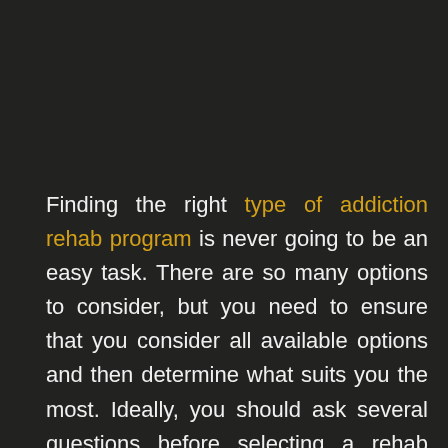Finding the right type of addiction rehab program is never going to be an easy task. There are so many options to consider, but you need to ensure that you consider all available options and then determine what suits you the most. Ideally, you should ask several questions before selecting a rehab addiction center, but you should never forget to inquire about two important things before finalizing your decision.